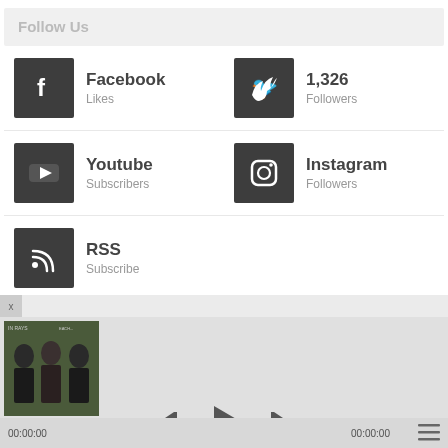Follow Us
Facebook
Likes
1,326
Followers
Youtube
Subscribers
Instagram
Followers
RSS
Subscribe
[Figure (screenshot): Music player interface with album art of a group photo, playback controls (previous, play, next), and time display showing 00:00:00 on both sides]
00:00:00
00:00:00